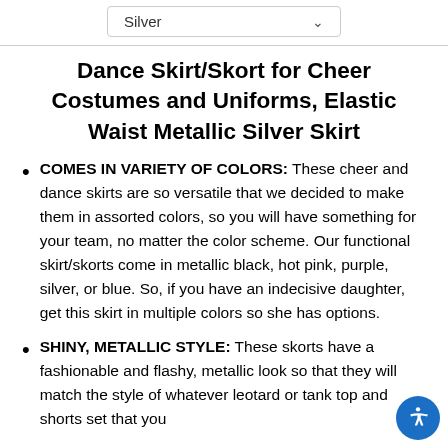Silver
Dance Skirt/Skort for Cheer Costumes and Uniforms, Elastic Waist Metallic Silver Skirt
COMES IN VARIETY OF COLORS: These cheer and dance skirts are so versatile that we decided to make them in assorted colors, so you will have something for your team, no matter the color scheme. Our functional skirt/skorts come in metallic black, hot pink, purple, silver, or blue. So, if you have an indecisive daughter, get this skirt in multiple colors so she has options.
SHINY, METALLIC STYLE: These skorts have a fashionable and flashy, metallic look so that they will match the style of whatever leotard or tank top and shorts set that you